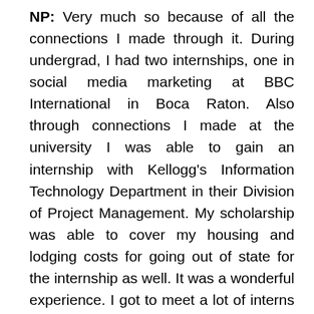NP: Very much so because of all the connections I made through it. During undergrad, I had two internships, one in social media marketing at BBC International in Boca Raton. Also through connections I made at the university I was able to gain an internship with Kellogg's Information Technology Department in their Division of Project Management. My scholarship was able to cover my housing and lodging costs for going out of state for the internship as well. It was a wonderful experience. I got to meet a lot of interns from across the world. We had an opportunity to build an app for our client, the United Way of Metropolitan Chicago. That really broadened my perspective and made me think of larger ways to accomplish my goal of helping my